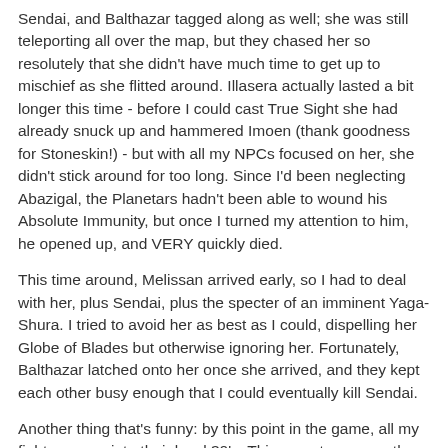Sendai, and Balthazar tagged along as well; she was still teleporting all over the map, but they chased her so resolutely that she didn't have much time to get up to mischief as she flitted around. Illasera actually lasted a bit longer this time - before I could cast True Sight she had already snuck up and hammered Imoen (thank goodness for Stoneskin!) - but with all my NPCs focused on her, she didn't stick around for too long. Since I'd been neglecting Abazigal, the Planetars hadn't been able to wound his Absolute Immunity, but once I turned my attention to him, he opened up, and VERY quickly died.
This time around, Melissan arrived early, so I had to deal with her, plus Sendai, plus the specter of an imminent Yaga-Shura. I tried to avoid her as best as I could, dispelling her Globe of Blades but otherwise ignoring her. Fortunately, Balthazar latched onto her once she arrived, and they kept each other busy enough that I could eventually kill Sendai.
Another thing that's funny: by this point in the game, all my fighters were into their level 30's. This meant, among other things, that they had taken a bunch of HLAs. Mazzy had a